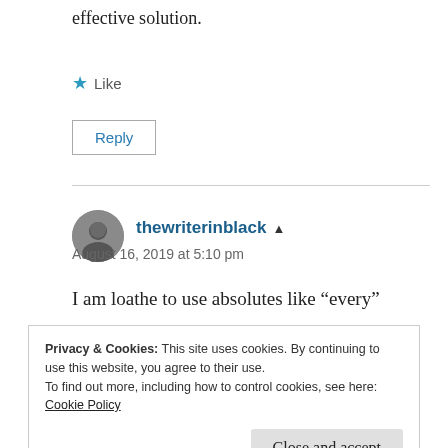effective solution.
★ Like
Reply
thewriterinblack ▲
August 16, 2019 at 5:10 pm
I am loathe to use absolutes like “every”
Privacy & Cookies: This site uses cookies. By continuing to use this website, you agree to their use.
To find out more, including how to control cookies, see here:
Cookie Policy
Close and accept